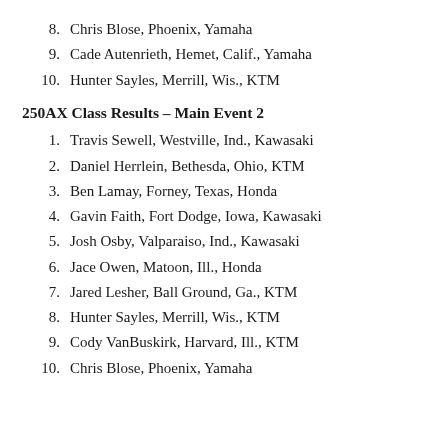8. Chris Blose, Phoenix, Yamaha
9. Cade Autenrieth, Hemet, Calif., Yamaha
10. Hunter Sayles, Merrill, Wis., KTM
250AX Class Results – Main Event 2
1. Travis Sewell, Westville, Ind., Kawasaki
2. Daniel Herrlein, Bethesda, Ohio, KTM
3. Ben Lamay, Forney, Texas, Honda
4. Gavin Faith, Fort Dodge, Iowa, Kawasaki
5. Josh Osby, Valparaiso, Ind., Kawasaki
6. Jace Owen, Matoon, Ill., Honda
7. Jared Lesher, Ball Ground, Ga., KTM
8. Hunter Sayles, Merrill, Wis., KTM
9. Cody VanBuskirk, Harvard, Ill., KTM
10. Chris Blose, Phoenix, Yamaha